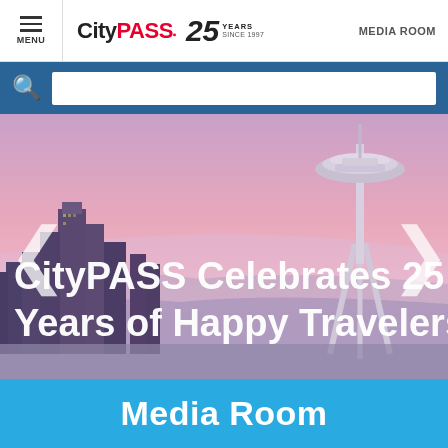CityPASS 25 YEARS SINCE 1997 MEDIA ROOM
[Figure (screenshot): CityPASS media room website screenshot showing navigation bar with hamburger menu, CityPASS 25 Years logo, Media Room link, teal search bar, hero image of Seattle skyline with Space Needle at dusk with pink/purple sky, overlaid text 'CityPASS Celebrates 25 Years of Happy Travelers', navigation arrows, and a bright blue Media Room banner at the bottom.]
CityPASS Celebrates 25 Years of Happy Travelers
Media Room